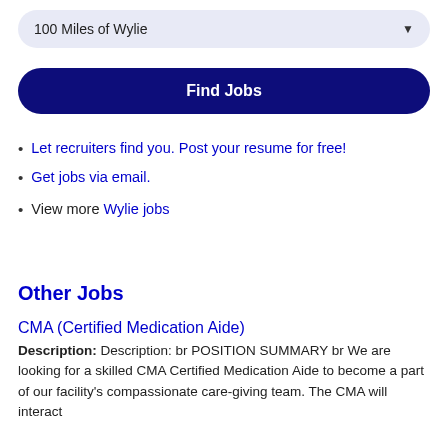100 Miles of Wylie
Find Jobs
Let recruiters find you. Post your resume for free!
Get jobs via email.
View more Wylie jobs
Other Jobs
CMA (Certified Medication Aide)
Description: Description: br POSITION SUMMARY br We are looking for a skilled CMA Certified Medication Aide to become a part of our facility's compassionate care-giving team. The CMA will interact